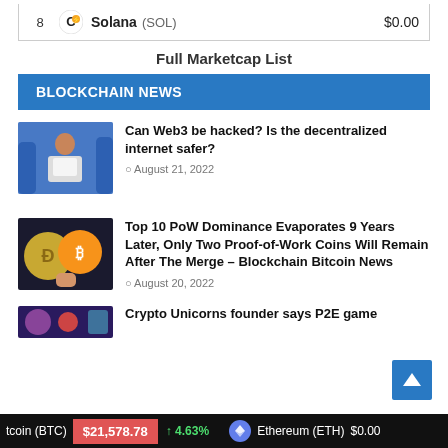| # | Coin | Price |
| --- | --- | --- |
| 8 | Solana (SOL) | $0.00 |
Full Marketcap List
BLOCKCHAIN NEWS
[Figure (photo): Illustration of a person reading in a digital/Web3 environment]
Can Web3 be hacked? Is the decentralized internet safer?
August 21, 2022
[Figure (photo): Photo of Dogecoin and Bitcoin coins]
Top 10 PoW Dominance Evaporates 9 Years Later, Only Two Proof-of-Work Coins Will Remain After The Merge – Blockchain Bitcoin News
August 20, 2022
[Figure (photo): Partial image for Crypto Unicorns article]
Crypto Unicorns founder says P2E game...
tcoin (BTC)  $21,578.78  ↑ 4.63%  Ethereum (ETH)  $0.00